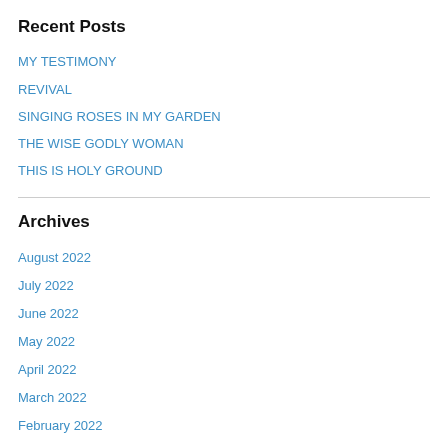Recent Posts
MY TESTIMONY
REVIVAL
SINGING ROSES IN MY GARDEN
THE WISE GODLY WOMAN
THIS IS HOLY GROUND
Archives
August 2022
July 2022
June 2022
May 2022
April 2022
March 2022
February 2022
January 2022
December 2021